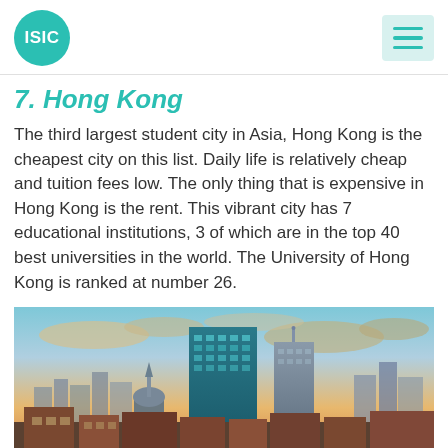ISIC
7. Hong Kong
The third largest student city in Asia, Hong Kong is the cheapest city on this list. Daily life is relatively cheap and tuition fees low. The only thing that is expensive in Hong Kong is the rent. This vibrant city has 7 educational institutions, 3 of which are in the top 40 best universities in the world. The University of Hong Kong is ranked at number 26.
[Figure (photo): City skyline photo showing tall buildings including a prominent teal glass skyscraper against a dramatic sunset sky with orange and golden clouds, with lower buildings and urban landscape in the foreground.]